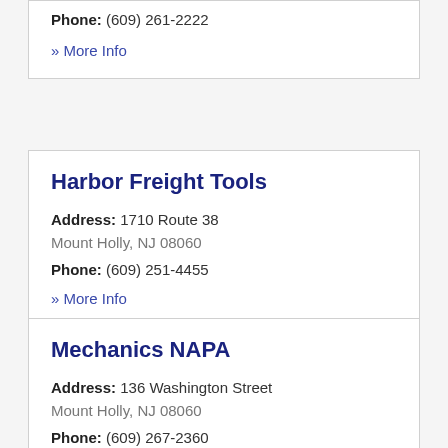Phone: (609) 261-2222
» More Info
Harbor Freight Tools
Address: 1710 Route 38
Mount Holly, NJ 08060
Phone: (609) 251-4455
» More Info
Mechanics NAPA
Address: 136 Washington Street
Mount Holly, NJ 08060
Phone: (609) 267-2360
» More Info